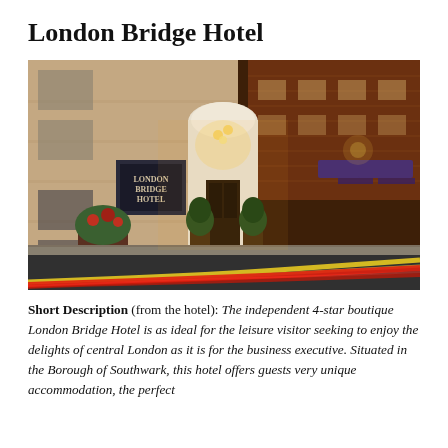London Bridge Hotel
[Figure (photo): Exterior night photograph of the London Bridge Hotel showing the illuminated facade with red brick and stone entrance arch, potted topiary plants flanking the entrance, and light trails from passing vehicles on the street.]
Short Description (from the hotel): The independent 4-star boutique London Bridge Hotel is as ideal for the leisure visitor seeking to enjoy the delights of central London as it is for the business executive. Situated in the Borough of Southwark, this hotel offers guests very unique accommodation, the perfect